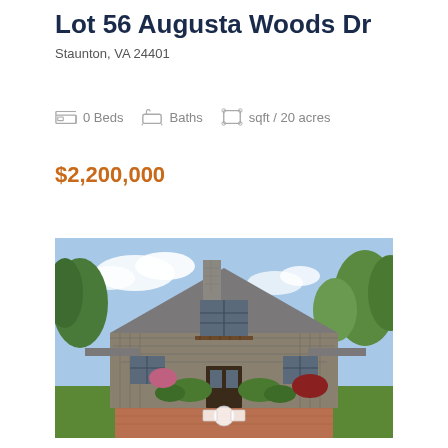Lot 56 Augusta Woods Dr
Staunton, VA 24401
0 Beds  Baths  sqft / 20 acres
$2,200,000
[Figure (photo): Exterior photo of a large country home with a steep A-frame roofline, stone chimney, gray wood siding, dormer windows with balcony, mature trees, manicured shrubs, and a brick patio with white metal furniture in the foreground.]